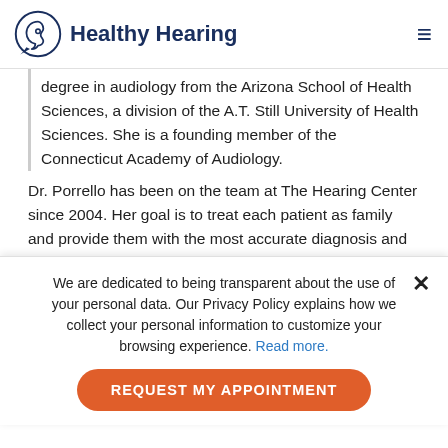Healthy Hearing
degree in audiology from the Arizona School of Health Sciences, a division of the A.T. Still University of Health Sciences. She is a founding member of the Connecticut Academy of Audiology.
Dr. Porrello has been on the team at The Hearing Center since 2004. Her goal is to treat each patient as family and provide them with the most accurate diagnosis and appropriate amplification to help them hear as well as
We are dedicated to being transparent about the use of your personal data. Our Privacy Policy explains how we collect your personal information to customize your browsing experience. Read more.
REQUEST MY APPOINTMENT